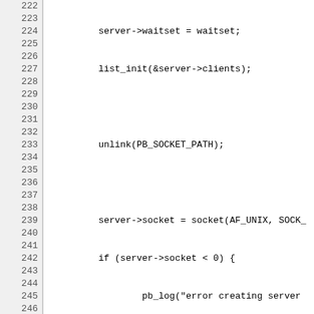[Figure (screenshot): Source code listing in monospace font showing C code lines 222-251, with line numbers in a gray left column and code in white right column. The code shows server socket initialization logic.]